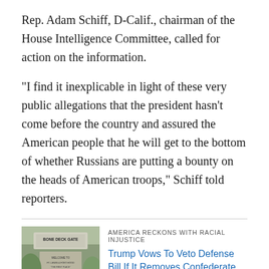Rep. Adam Schiff, D-Calif., chairman of the House Intelligence Committee, called for action on the information.
"I find it inexplicable in light of these very public allegations that the president hasn't come before the country and assured the American people that he will get to the bottom of whether Russians are putting a bounty on the heads of American troops," Schiff told reporters.
[Figure (photo): Photo of a military base sign reading 'Bone Deck Gate' with 'Welcome to' text below]
AMERICA RECKONS WITH RACIAL INJUSTICE
Trump Vows To Veto Defense Bill If It Removes Confederate Names From Military Bases
Republicans have said more investigation is needed.
"Every level of government needs to gather more information to understand this situation better," said R...